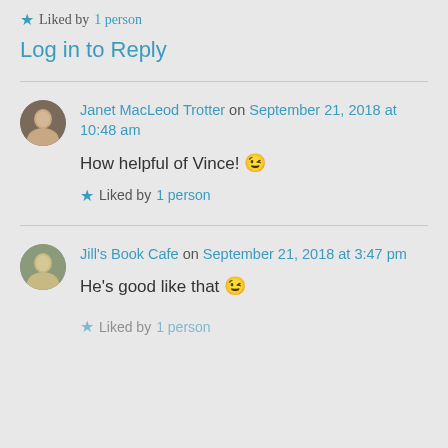★ Liked by 1 person
Log in to Reply
Janet MacLeod Trotter on September 21, 2018 at 10:48 am
How helpful of Vince! 😉
★ Liked by 1 person
Jill's Book Cafe on September 21, 2018 at 3:47 pm
He's good like that 😉
★ Liked by 1 person